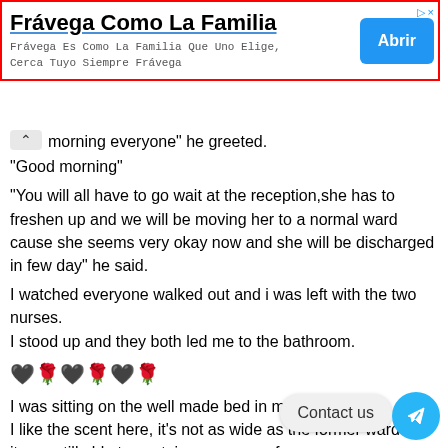[Figure (other): Advertisement banner with red border. Title: 'Frávega Como La Familia', subtitle: 'Frávega Es Como La Familia Que Uno Elige, Cerca Tuyo Siempre Frávega', blue 'Abrir' button on right. Ad icons top right.]
morning everyone" he greeted.
"Good morning"
"You will all have to go wait at the reception,she has to freshen up and we will be moving her to a normal ward cause she seems very okay now and she will be discharged in few day" he said.
I watched everyone walked out and i was left with the two nurses. I stood up and they both led me to the bathroom.
🖤🌹🖤🌹🖤🌹
I was sitting on the well made bed in my new ward. I like the scent here, it's not as wide as the former ward but it was still able to contain every one of us. I've been given an injection, it was so painful i nearly chop off the hand of the nurse who stared at me in
I'm no longer in the hospital wear..I don't like it anyways. I'm now clad in a pink t-shirt with a pair of blue jeans.